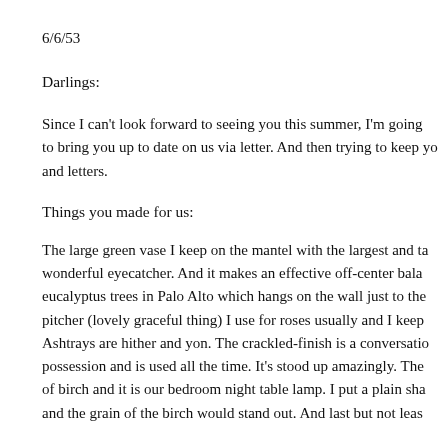6/6/53
Darlings:
Since I can't look forward to seeing you this summer, I'm going to bring you up to date on us via letter. And then trying to keep you and letters.
Things you made for us:
The large green vase I keep on the mantel with the largest and ta wonderful eyecatcher. And it makes an effective off-center bala eucalyptus trees in Palo Alto which hangs on the wall just to the pitcher (lovely graceful thing) I use for roses usually and I keep Ashtrays are hither and yon. The crackled-finish is a conversatio possession and is used all the time. It's stood up amazingly. The of birch and it is our bedroom night table lamp. I put a plain sha and the grain of the birch would stand out. And last but not leas